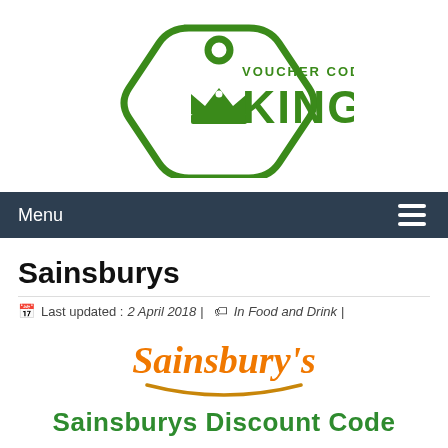[Figure (logo): Voucher Codes King logo — green price-tag shape with crown inside and text 'VOUCHER CODES KING' in green]
Menu
Sainsburys
Last updated : 2 April 2018| In Food and Drink|
[Figure (logo): Sainsbury's logo in orange and green with curved underline]
Sainsburys Discount Code